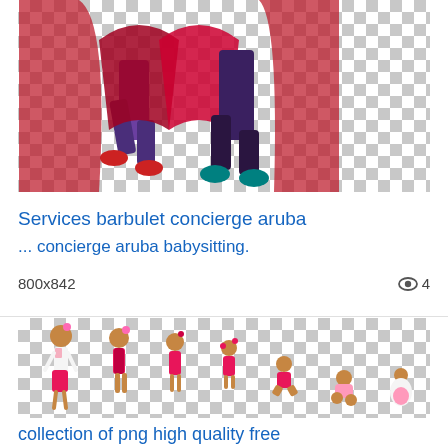[Figure (illustration): Cropped illustration showing cartoon characters' lower bodies - one in blue/purple outfit with red sneakers, another in dark outfit with teal shoes, against a checkered transparency background]
Services barbulet concierge aruba
... concierge aruba babysitting.
800x842   👁 4
[Figure (illustration): Collection of cartoon female figures in pink dresses at various ages/sizes from adult to baby, arranged left to right decreasing in size, on checkered transparency background]
collection of png high quality free